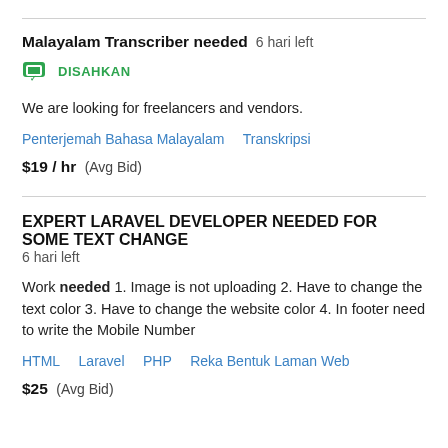Malayalam Transcriber needed  6 hari left
DISAHKAN
We are looking for freelancers and vendors.
Penterjemah Bahasa Malayalam   Transkripsi
$19 / hr  (Avg Bid)
EXPERT LARAVEL DEVELOPER NEEDED FOR SOME TEXT CHANGE  6 hari left
Work needed 1. Image is not uploading 2. Have to change the text color 3. Have to change the website color 4. In footer need to write the Mobile Number
HTML   Laravel   PHP   Reka Bentuk Laman Web
$25  (Avg Bid)